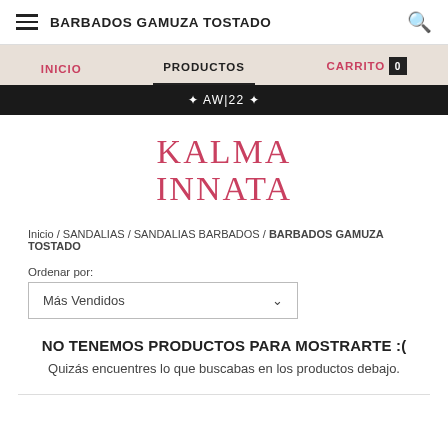BARBADOS GAMUZA TOSTADO
INICIO | PRODUCTOS | CARRITO 0
✦ AW|22 ✦
[Figure (logo): KALMA INNATA brand logo in pink/rose serif font, two lines: KALMA / INNATA]
Inicio / SANDALIAS / SANDALIAS BARBADOS / BARBADOS GAMUZA TOSTADO
Ordenar por:
Más Vendidos
NO TENEMOS PRODUCTOS PARA MOSTRARTE :(
Quizás encuentres lo que buscabas en los productos debajo.